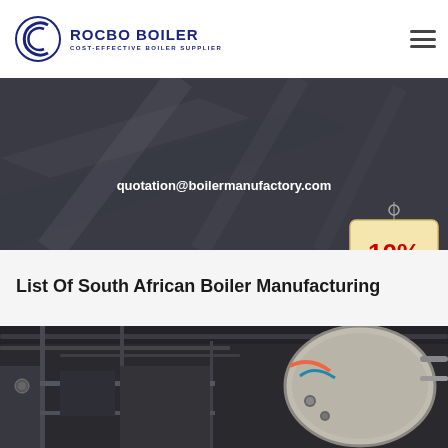[Figure (logo): Rocbo Boiler logo with circular arc icon and text 'ROCBO BOILER - COST-EFFECTIVE BOILER SUPPLIER' in dark blue]
[Figure (other): Hamburger menu icon (three horizontal lines) in header]
[Figure (photo): Dark industrial boiler facility background image with text overlay showing email address quotation@boilermanufactory.com and a 10% DISCOUNT badge/tag graphic in the lower right]
List Of South African Boiler Manufacturing
[Figure (photo): Industrial boiler equipment photo showing pipes, scaffolding, and large cylindrical boiler vessel inside a factory building]